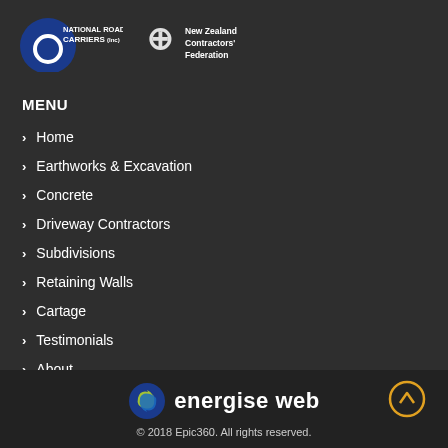[Figure (logo): National Road Carriers (Inc) logo - circular blue logo with white circle and carrier text]
[Figure (logo): New Zealand Contractors Federation logo - stylized CF symbol with text]
MENU
Home
Earthworks & Excavation
Concrete
Driveway Contractors
Subdivisions
Retaining Walls
Cartage
Testimonials
About
Contact
energise web | © 2018 Epic360. All rights reserved.